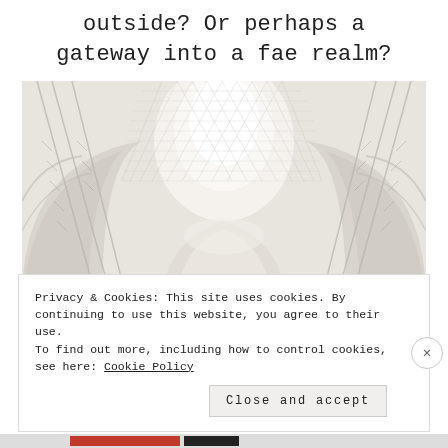outside? Or perhaps a gateway into a fae realm?
[Figure (photo): Looking up at the interior ceiling of a grand architectural hall with white vaulted arches and a glass skylight, creating a symmetrical perspective.]
Privacy & Cookies: This site uses cookies. By continuing to use this website, you agree to their use.
To find out more, including how to control cookies, see here: Cookie Policy
Close and accept